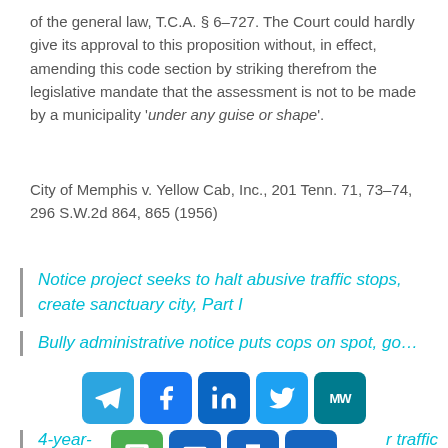of the general law, T.C.A. § 6–727. The Court could hardly give its approval to this proposition without, in effect, amending this code section by striking therefrom the legislative mandate that the assessment is not to be made by a municipality 'under any guise or shape'.
City of Memphis v. Yellow Cab, Inc., 201 Tenn. 71, 73–74, 296 S.W.2d 864, 865 (1956)
Notice project seeks to halt abusive traffic stops, create sanctuary city, Part I
Bully administrative notice puts cops on spot, go...
[Figure (screenshot): Social media share buttons: Telegram, Facebook, LinkedIn, Twitter, MW, SMS, Email, Print, More (+)]
4-year-... traffic